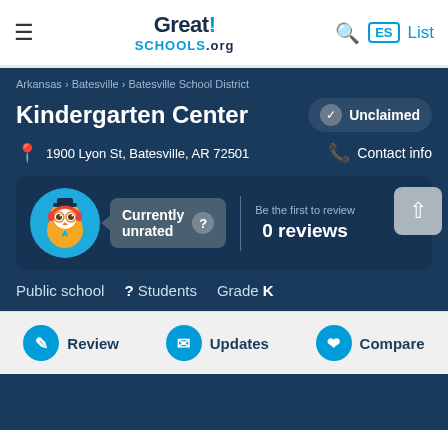GreatSchools.org
Arkansas > Batesville > Batesville School District
Kindergarten Center
Unclaimed
1900 Lyon St, Batesville, AR 72501
Contact info
[Figure (illustration): Owl mascot in blue circle, Currently unrated badge with question mark icon, divider line, Be the first to review, 0 reviews]
Public school   ? Students   Grade K
Review   Updates   Compare